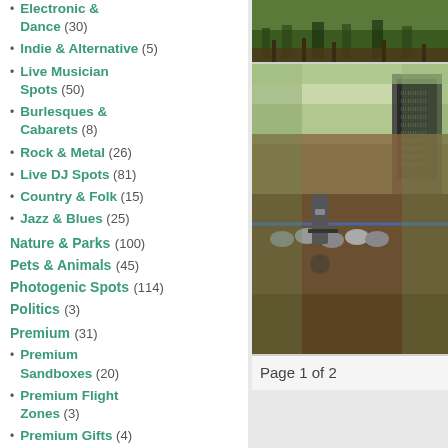Electronic & Dance (30)
Indie & Alternative (5)
Live Musician Spots (50)
Burlesques & Cabarets (8)
Rock & Metal (26)
Live DJ Spots (81)
Country & Folk (15)
Jazz & Blues (25)
Nature & Parks (100)
Pets & Animals (45)
Photogenic Spots (114)
Politics (3)
Premium (31)
Premium Sandboxes (20)
Premium Flight Zones (3)
Premium Gifts (4)
Racer's Gulch (4)
[Figure (photo): Outdoor scene with green foliage and wooden bench/rails]
[Figure (photo): Virtual world cycling/racing scene with avatars on bikes under a covered track with scoreboards and trees in background]
Page 1 of 2